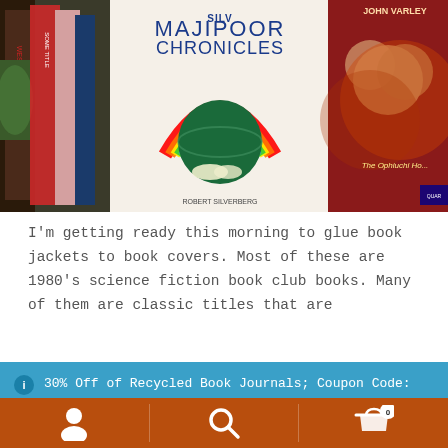[Figure (photo): Photograph of book spines and covers on a shelf, including 'Majipoor Chronicles' with a colorful rainbow and planet cover, partially visible 'John Varley' book 'The Ophiuchi Hotline' on the right, and other science fiction books on the left]
I'm getting ready this morning to glue book jackets to book covers. Most of these are 1980's science fiction book club books. Many of them are classic titles that are
30% Off of Recycled Book Journals; Coupon Code: journal3022
Dismiss
At the same time there is a quite a bit of